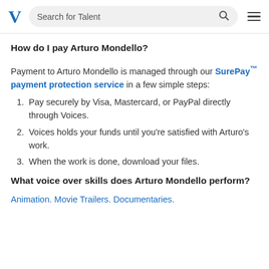Search for Talent
How do I pay Arturo Mondello?
Payment to Arturo Mondello is managed through our SurePay™ payment protection service in a few simple steps:
Pay securely by Visa, Mastercard, or PayPal directly through Voices.
Voices holds your funds until you're satisfied with Arturo's work.
When the work is done, download your files.
What voice over skills does Arturo Mondello perform?
Animation. Movie Trailers. Documentaries.